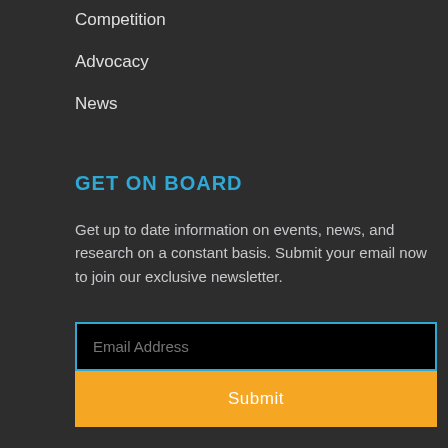Competition
Advocacy
News
GET ON BOARD
Get up to date information on events, news, and research on a constant basis. Submit your email now to join our exclusive newsletter.
Email Address
Submit